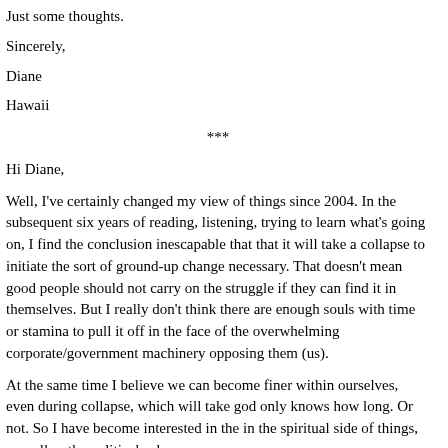Just some thoughts.
Sincerely,
Diane
Hawaii
***
Hi Diane,
Well, I've certainly changed my view of things since 2004. In the subsequent six years of reading, listening, trying to learn what's going on, I find the conclusion inescapable that that it will take a collapse to initiate the sort of ground-up change necessary. That doesn't mean good people should not carry on the struggle if they can find it in themselves. But I really don't think there are enough souls with time or stamina to pull it off in the face of the overwhelming corporate/government machinery opposing them (us).
At the same time I believe we can become finer within ourselves, even during collapse, which will take god only knows how long. Or not. So I have become interested in the in the spiritual side of things, as well as the political -- because as